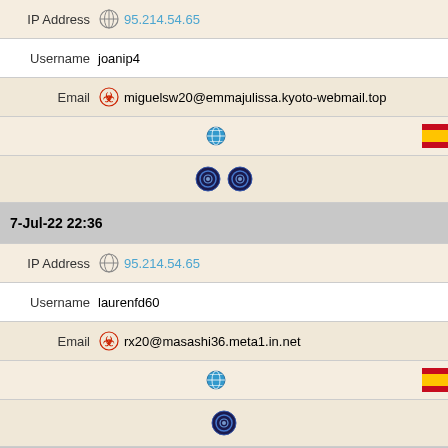IP Address 95.214.54.65
Username joanip4
Email miguelsw20@emmajulissa.kyoto-webmail.top
[Figure (infographic): Globe icon and Spain flag icon]
[Figure (infographic): Two Tor browser icons]
7-Jul-22 22:36
IP Address 95.214.54.65
Username laurenfd60
Email rx20@masashi36.meta1.in.net
[Figure (infographic): Globe icon and Spain flag icon]
[Figure (infographic): Tor browser icon]
7-Jul-22 17:57
IP Address 95.214.54.65
Username billpf18
Email zz16@akihiro70.officemail.fun
[Figure (infographic): Globe icon and Spain flag icon]
[Figure (infographic): Tor browser icon (partial)]